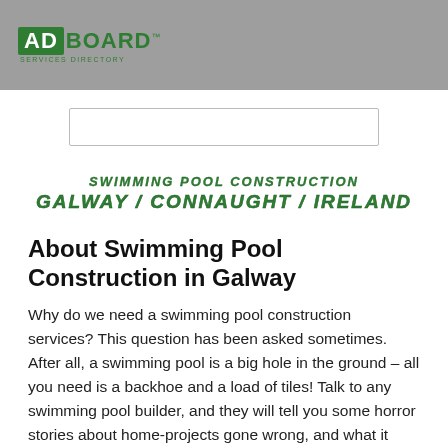ADBOARD SERVICES DIRECTORY
[Figure (other): Search input box]
SWIMMING POOL CONSTRUCTION GALWAY / CONNAUGHT / IRELAND
About Swimming Pool Construction in Galway
Why do we need a swimming pool construction services? This question has been asked sometimes. After all, a swimming pool is a big hole in the ground – all you need is a backhoe and a load of tiles! Talk to any swimming pool builder, and they will tell you some horror stories about home-projects gone wrong, and what it takes for a swimming pool construction services to sort out the mess. Let's consider a